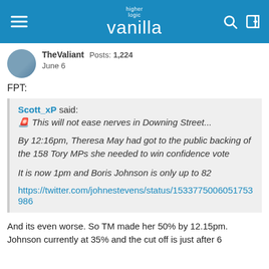higher logic vanilla
TheValiant · Posts: 1,224
June 6
FPT:
Scott_xP said:
🚨 This will not ease nerves in Downing Street...

By 12:16pm, Theresa May had got to the public backing of the 158 Tory MPs she needed to win confidence vote

It is now 1pm and Boris Johnson is only up to 82

https://twitter.com/johnestevens/status/1533775006051753986
And its even worse. So TM made her 50% by 12.15pm. Johnson currently at 35% and the cut off is just after 6